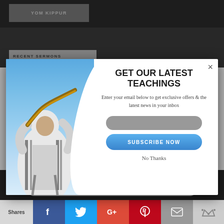YOM KIPPUR
RECENT SERMONS
[Figure (screenshot): Screenshot of a religious website with a modal popup overlay. Background shows dark gray website with 'YOM KIPPUR' tag and 'RECENT SERMONS' section. A photo of a person in prayer shawl blowing a shofar against a blue sky is on the left side of the modal.]
GET OUR LATEST TEACHINGS
Enter your email below to get exclusive offers & the latest news in your inbox
SUBSCRIBE NOW
No Thanks
HAFTARAH VIDEO STUDIES
Ekev
POWERED BY SUMO
Shares